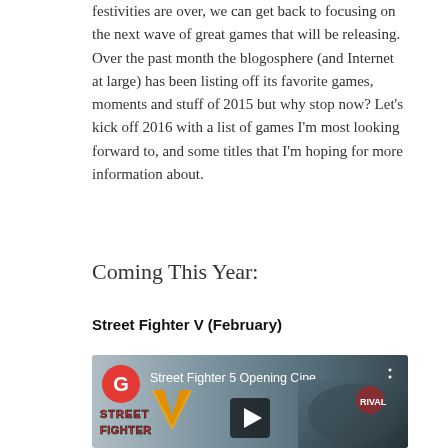festivities are over, we can get back to focusing on the next wave of great games that will be releasing. Over the past month the blogosphere (and Internet at large) has been listing off its favorite games, moments and stuff of 2015 but why stop now? Let's kick off 2016 with a list of games I'm most looking forward to, and some titles that I'm hoping for more information about.
Coming This Year:
Street Fighter V (February)
[Figure (screenshot): YouTube video thumbnail for 'Street Fighter 5 Opening Cine...' showing the Street Fighter V logo on the left and a fighting scene on the right, with a red circle G channel icon, video title text, and a play button in the center.]